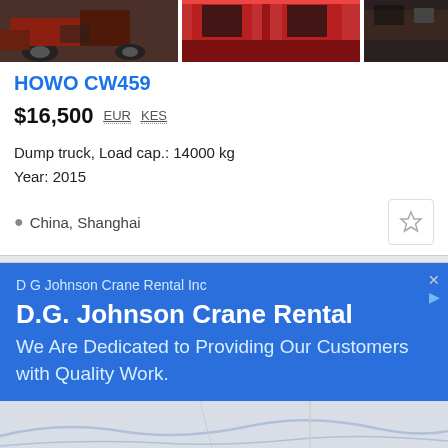[Figure (photo): Three photos of a HOWO CW459 dump truck, partially cropped at top]
HOWO CW459
$16,500  EUR  KES
Dump truck, Load cap.: 14000 kg
Year: 2015
China, Shanghai
[Figure (infographic): Advertisement banner: D G Johnson Crane Rental Inc / D.G. Johnson Crane Rental / We Are Dedicated to Providing Our Customers with Quality Work.]
[Figure (map): Partial map view at bottom of page]